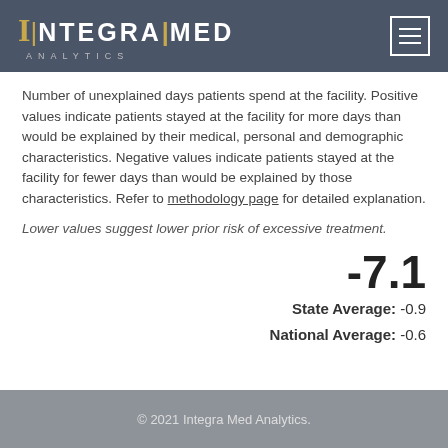INTEGRAMED ANALYTICS
Number of unexplained days patients spend at the facility. Positive values indicate patients stayed at the facility for more days than would be explained by their medical, personal and demographic characteristics. Negative values indicate patients stayed at the facility for fewer days than would be explained by those characteristics. Refer to methodology page for detailed explanation.
Lower values suggest lower prior risk of excessive treatment.
-7.1
State Average: -0.9
National Average: -0.6
© 2021 Integra Med Analytics.